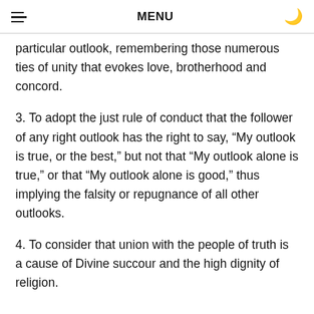MENU
particular outlook, remembering those numerous ties of unity that evokes love, brotherhood and concord.
3. To adopt the just rule of conduct that the follower of any right outlook has the right to say, “My outlook is true, or the best,” but not that “My outlook alone is true,” or that “My outlook alone is good,” thus implying the falsity or repugnance of all other outlooks.
4. To consider that union with the people of truth is a cause of Divine succour and the high dignity of religion.